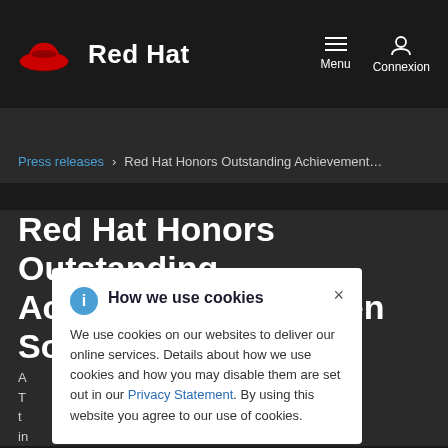Red Hat | Menu | Connexion
Press releases > Red Hat Honors Outstanding Achievements i...
Red Hat Honors Outstanding Achievements in Open Source with N... ...ation A...
A... ...ngs, CA T... ...ized for t... ...nterprise in
How we use cookies
We use cookies on our websites to deliver our online services. Details about how we use cookies and how you may disable them are set out in our Privacy Statement. By using this website you agree to our use of cookies.